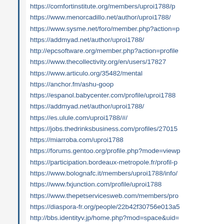https://comfortinstitute.org/members/uproi1788/p
https://www.menorcadillo.net/author/uproi1788/
https://www.sysme.net/foro/member.php?action=p
https://addmyad.net/author/uproi1788/
http://epcsoftware.org/member.php?action=profile
https://www.thecollectivity.org/en/users/17827
https://www.articulo.org/35482/mental
https://anchor.fm/ashu-goop
https://espanol.babycenter.com/profile/uproi1788
https://addmyad.net/author/uproi1788/
https://es.ulule.com/uproi1788/#/
https://jobs.thedrinksbusiness.com/profiles/27015
https://miarroba.com/uproi1788
https://forums.gentoo.org/profile.php?mode=viewp
https://participation.bordeaux-metropole.fr/profil-p
https://www.bolognafc.it/members/uproi1788/info/
https://www.fxjunction.com/profile/uproi1788
https://www.thepetservicesweb.com/members/pro
https://diaspora-fr.org/people/22b42f30756e013a5
http://bbs.identityv.jp/home.php?mod=space&uid=
http://directory.womengrow.com/author/uproi1788
https://www.tipga.com/about/uproi1788
https://smartapi.angelbroking.com/user/uproi1788
https://www.peakprosperity.com/user/uproi1788/
https://participedia.net/case/8021